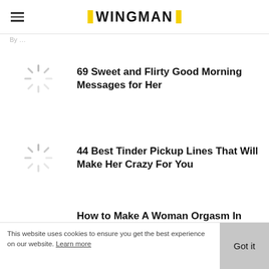WINGMAN
By ...
69 Sweet and Flirty Good Morning Messages for Her
44 Best Tinder Pickup Lines That Will Make Her Crazy For You
How to Make A Woman Orgasm In
This website uses cookies to ensure you get the best experience on our website. Learn more  Got it